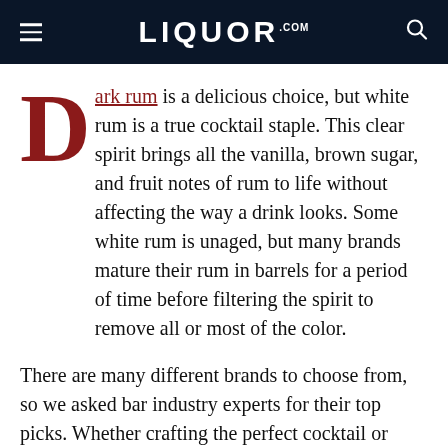LIQUOR.COM
Dark rum is a delicious choice, but white rum is a true cocktail staple. This clear spirit brings all the vanilla, brown sugar, and fruit notes of rum to life without affecting the way a drink looks. Some white rum is unaged, but many brands mature their rum in barrels for a period of time before filtering the spirit to remove all or most of the color.
There are many different brands to choose from, so we asked bar industry experts for their top picks. Whether crafting the perfect cocktail or enjoying on